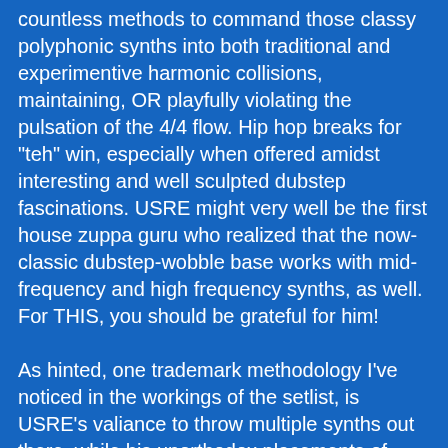countless methods to command those classy polyphonic synths into both traditional and experimentive harmonic collisions, maintaining, OR playfully violating the pulsation of the 4/4 flow. Hip hop breaks for "teh" win, especially when offered amidst interesting and well sculpted dubstep fascinations. USRE might very well be the first house zuppa guru who realized that the now-classic dubstep-wobble base works with mid-frequency and high frequency synths, as well. For THIS, you should be grateful for him!

As hinted, one trademark methodology I've noticed in the workings of the setlist, is USRE's valiance to throw multiple synths out there, while his unorthodox placements of chills, buildups and peaks similarly are ear-and dancefloor treats you want to consort a fervent awareness to. (Otherwise both entities miss out on the other, not to mention music can't exist without an awareness to pick up on it.) The Texas EDM setlist - as it is featured on the soundcloud site - is a skillfully assembled, elegantly streamlined prog house zanza/extravaganza that gives you a picture perfect vision of the inner image of house music USRE is cultivating in the summer of 2014. Practice your chops and demonstrate them